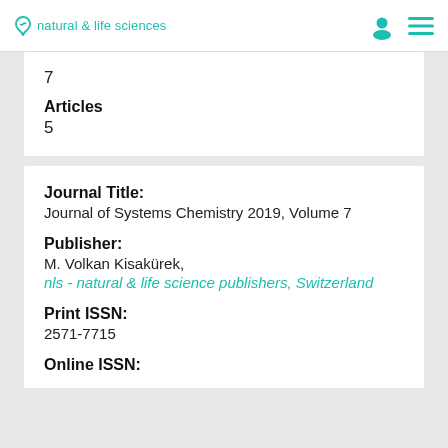natural & life sciences
7
Articles
5
Journal Title:
Journal of Systems Chemistry 2019, Volume 7
Publisher:
M. Volkan Kisakürek,
nls - natural & life science publishers, Switzerland
Print ISSN:
2571-7715
Online ISSN: